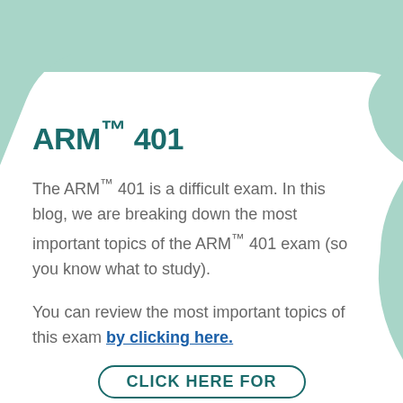ARM™ 401
The ARM™ 401 is a difficult exam. In this blog, we are breaking down the most important topics of the ARM™ 401 exam (so you know what to study).
You can review the most important topics of this exam by clicking here.